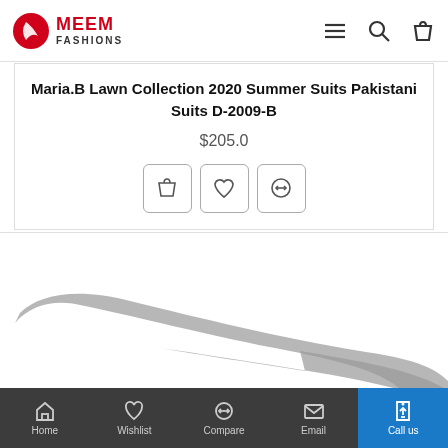MEEM FASHIONS
Maria.B Lawn Collection 2020 Summer Suits Pakistani Suits D-2009-B
$205.0
[Figure (photo): Partial image of a dress/fabric with a decorative curved design element in grey/silver against a white background]
Home | Wishlist | Compare | Email | Call us